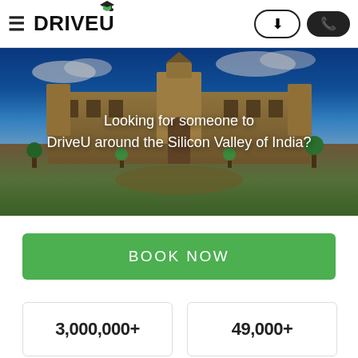DriveU — hamburger menu, download button, call button
[Figure (photo): Aerial/wide shot of Bangalore Palace (Lalbagh or similar historic building) under blue sky with gardens in foreground. Overlaid with text: 'Looking for someone to DriveU around the Silicon Valley of India?']
Looking for someone to DriveU around the Silicon Valley of India?
BOOK NOW
3,000,000+
49,000+